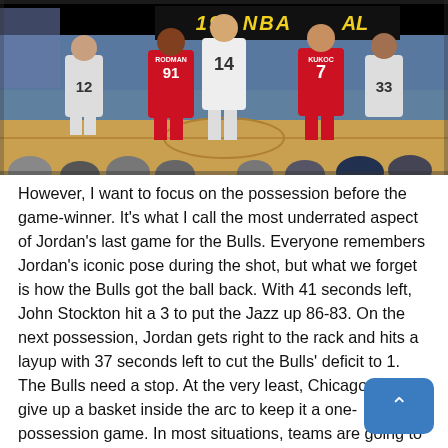[Figure (photo): Basketball game photo showing Chicago Bulls players including #91 (Dennis Rodman) and #7 in red jerseys, and #14 in white jersey, on an NBA court. Scoreboard visible in background showing '198 NBA' text. Crowd and court floor visible.]
However, I want to focus on the possession before the game-winner. It's what I call the most underrated aspect of Jordan's last game for the Bulls. Everyone remembers Jordan's iconic pose during the shot, but what we forget is how the Bulls got the ball back. With 41 seconds left, John Stockton hit a 3 to put the Jazz up 86-83. On the next possession, Jordan gets right to the rack and hits a layup with 37 seconds left to cut the Bulls' deficit to 1. The Bulls need a stop. At the very least, Chicago could give up a basket inside the arc to keep it a one-possession game. In most situations, teams are going to play "No 3's" defense and do their best not to foul. Force a tough shot, gather the rebound, and try to win the game at the other end. However, Jordan had other plans.